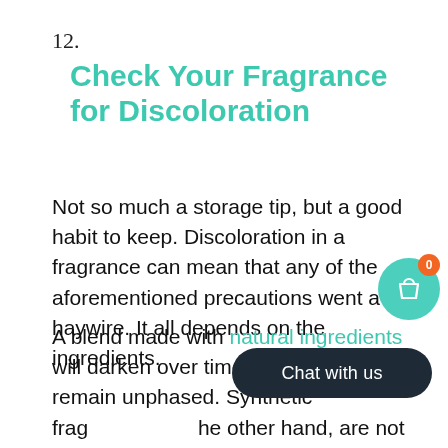12.
Check Your Fragrance for Discoloration
Not so much a storage tip, but a good habit to keep. Discoloration in a fragrance can mean that any of the aforementioned precautions went a bit haywire. It all depends on the ingredients.
A blend made with natural ingredients will darken over time, but its smell will remain unphased. Synthetic frags, on the other hand, are not meant to turn or turn oily. If such a transformation occurs,